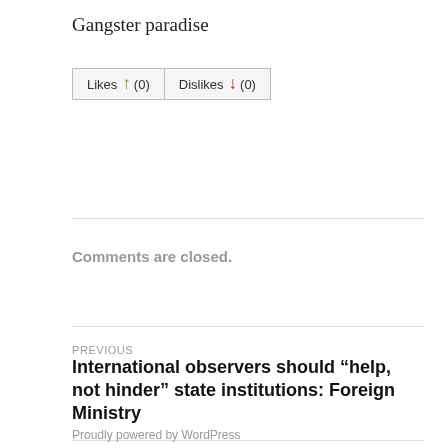Gangster paradise
[Figure (other): Likes (0) and Dislikes (0) buttons with thumbs-up and thumbs-down icons]
Comments are closed.
PREVIOUS
International observers should “help, not hinder” state institutions: Foreign Ministry
NEXT
Week in review: September 13-21
Proudly powered by WordPress